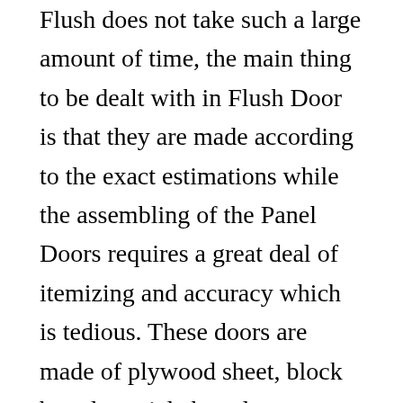Flush does not take such a large amount of time, the main thing to be dealt with in Flush Door is that they are made according to the exact estimations while the assembling of the Panel Doors requires a great deal of itemizing and accuracy which is tedious. These doors are made of plywood sheet, block board, particle board, etc. Disadvantages: 1. Stile and rail units use a combination of vertical and horizontal wood elements joined together to form patterns. Flush Doors are fire resistant whereas Panel doors are more prone to fire. Panel doors are more attractive in appearance when compared to flush doors. It is mostly made of a wooden frame having a covering of ply, MDF,